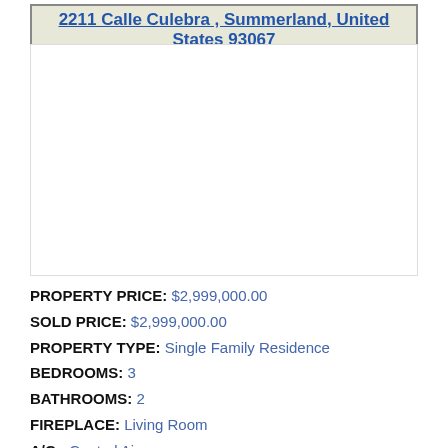2211 Calle Culebra , Summerland, United States 93067
[Figure (photo): Property photo area (blank/white in this view)]
PROPERTY PRICE: $2,999,000.00
SOLD PRICE: $2,999,000.00
PROPERTY TYPE: Single Family Residence
BEDROOMS: 3
BATHROOMS: 2
FIREPLACE: Living Room
A/C: Central Air
GARAGE TYPE: Driveway,Garage